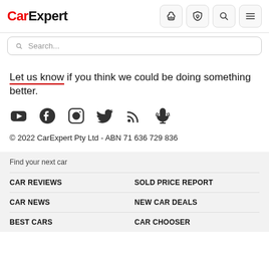CarExpert
Search...
Let us know if you think we could be doing something better.
[Figure (illustration): Social media icons: YouTube, Facebook, Instagram, Twitter, RSS, Podcast microphone]
© 2022 CarExpert Pty Ltd - ABN 71 636 729 836
Find your next car
CAR REVIEWS
SOLD PRICE REPORT
CAR NEWS
NEW CAR DEALS
BEST CARS
CAR CHOOSER